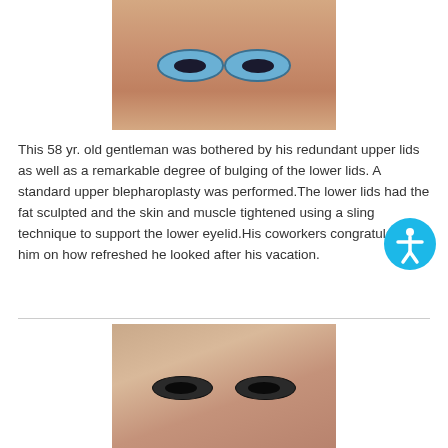[Figure (photo): Close-up frontal photograph of a 58-year-old male patient's eyes before blepharoplasty, showing redundant upper lids and bulging lower lids]
This 58 yr. old gentleman was bothered by his redundant upper lids as well as a remarkable degree of bulging of the lower lids. A standard upper blepharoplasty was performed.The lower lids had the fat sculpted and the skin and muscle tightened using a sling technique to support the lower eyelid.His coworkers congratulated him on how refreshed he looked after his vacation.
[Figure (photo): Close-up frontal photograph of the same patient's eyes after blepharoplasty procedure, showing improved appearance]